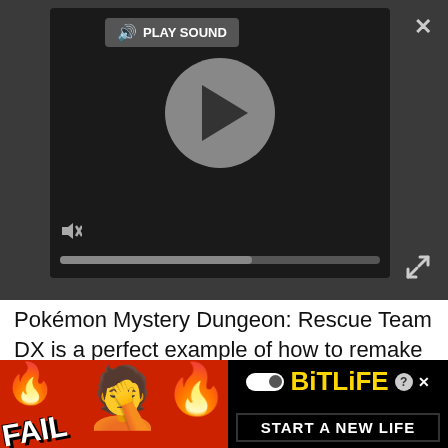[Figure (screenshot): Media player widget with dark background, play sound label, circular play button, mute button, and progress bar. Close button (X) in top right, expand icon in bottom right.]
Pokémon Mystery Dungeon: Rescue Team DX is a perfect example of how to remake a game. It kept the core storyline, which was the best part of the Mystery Dungeon series, as well as the core game mechanics while adding new features to streamline gaming. The auto modes for exploration and move selection make the whole gameplay much smoother, while still giving options for those who prefer the old gameplay. The additions of Mega Evolution and Pokémon from later
[Figure (screenshot): BitLife advertisement banner with red background, FAIL text, facepalm emoji, flame graphics, BitLife logo in yellow with pill icon, and START A NEW LIFE text on black background.]